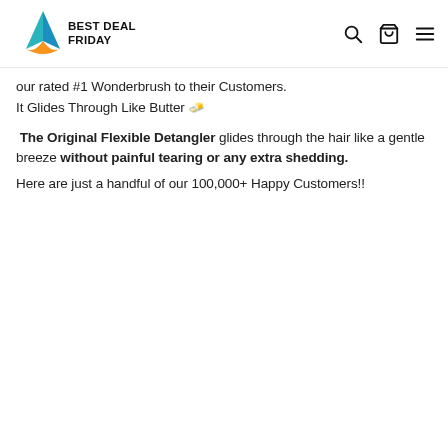BEST DEAL FRIDAY
our rated #1 Wonderbrush to their Customers.
It Glides Through Like Butter 🧈
The Original Flexible Detangler glides through the hair like a gentle breeze without painful tearing or any extra shedding.
Here are just a handful of our 100,000+ Happy Customers!!